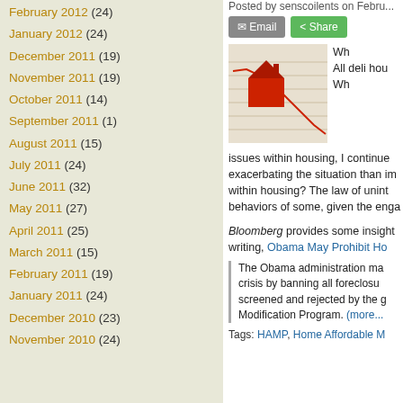February 2012 (24)
January 2012 (24)
December 2011 (19)
November 2011 (19)
October 2011 (14)
September 2011 (1)
August 2011 (15)
July 2011 (24)
June 2011 (32)
May 2011 (27)
April 2011 (25)
March 2011 (15)
February 2011 (19)
January 2011 (24)
December 2010 (23)
November 2010 (24)
Posted by senscoilents on Febru...
[Figure (photo): Red toy house on a declining stock chart graph]
Wh... All... deli... hou... Wh... issues within housing, I continue exacerbating the situation than im within housing? The law of unint behaviors of some, given the enga
Bloomberg provides some insight writing, Obama May Prohibit Ho
The Obama administration ma crisis by banning all foreclosu screened and rejected by the g Modification Program. (more...
Tags: HAMP, Home Affordable M